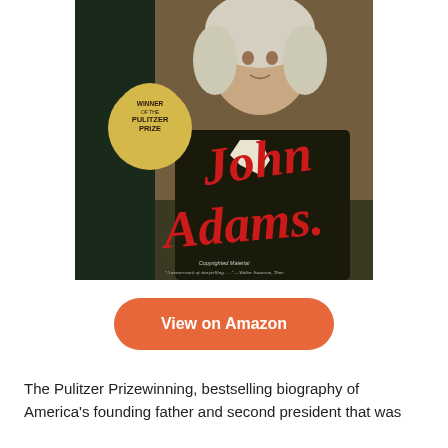[Figure (photo): Book cover of 'John Adams' by David McCullough. Features a portrait of John Adams in colonial-era clothing, with a gold Pulitzer Prize winner medallion badge on the left side. The title 'John Adams' is written in large red cursive script. A quote at the bottom reads: 'A masterwork of storytelling . . .' —Walter Isaacson, Time. The text 'Copyrighted Material' appears in the center bottom area.]
View on Amazon
The Pulitzer Prizewinning, bestselling biography of America's founding father and second president that was...